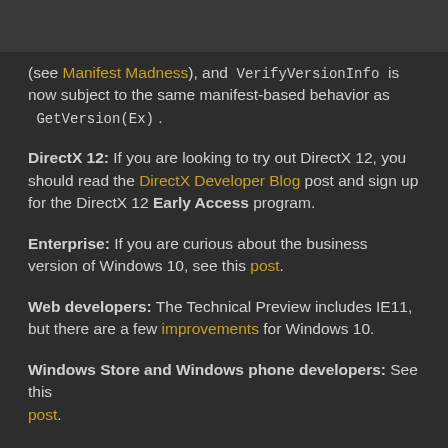(see Manifest Madness), and VerifyVersionInfo is now subject to the same manifest-based behavior as GetVersion(Ex).
DirectX 12: If you are looking to try out DirectX 12, you should read the DirectX Developer Blog post and sign up for the DirectX 12 Early Access program.
Enterprise: If you are curious about the business version of Windows 10, see this post.
Web developers: The Technical Preview includes IE11, but there are a few improvements for Windows 10.
Windows Store and Windows phone developers: See this post.
Command Prompt: There's some fun features added for Windows 10's command prompt. See this post.